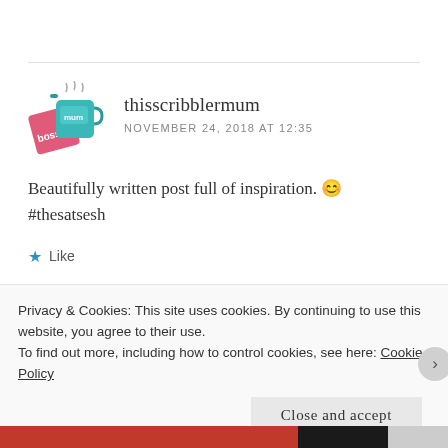[Figure (illustration): Avatar image of thisscribblermum - two mugs with steam, one pink and one teal, stacked/overlapping]
thisscribblermum
NOVEMBER 24, 2018 AT 12:35
Beautifully written post full of inspiration. 😊 #thesatsesh
★ Like
Reply
Privacy & Cookies: This site uses cookies. By continuing to use this website, you agree to their use.
To find out more, including how to control cookies, see here: Cookie Policy
Close and accept